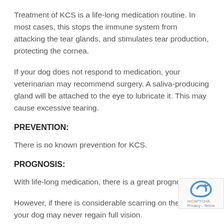Treatment of KCS is a life-long medication routine. In most cases, this stops the immune system from attacking the tear glands, and stimulates tear production, protecting the cornea.
If your dog does not respond to medication, your veterinarian may recommend surgery. A saliva-producing gland will be attached to the eye to lubricate it. This may cause excessive tearing.
PREVENTION:
There is no known prevention for KCS.
PROGNOSIS:
With life-long medication, there is a great prognosis.
However, if there is considerable scarring on the cornea, your dog may never regain full vision.